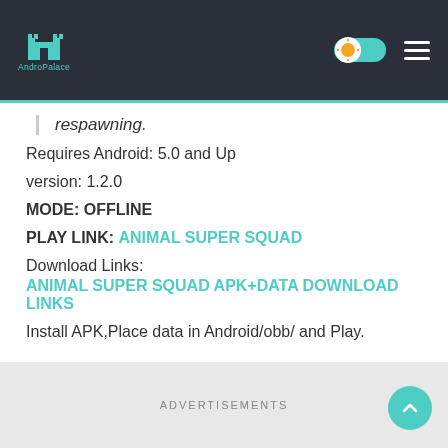AndroPalace - header with logo, toggle, and menu
respawning.
Requires Android: 5.0 and Up
version: 1.2.0
MODE: OFFLINE
PLAY LINK: ANIMAL SUPER SQUAD
Download Links:
ANIMAL SUPER SQUAD APK+DATA DOWNLOAD LINKS
Install APK,Place data in Android/obb/ and Play.
ADVERTISEMENTS